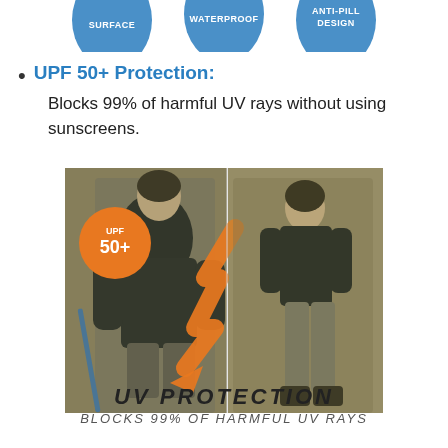[Figure (illustration): Three partially visible blue circular badge icons at top: SURFACE, WATERPROOF, DESIGN]
UPF 50+ Protection: Blocks 99% of harmful UV rays without using sunscreens.
[Figure (photo): Two outdoor photos side by side of a man wearing a black jacket and grey pants in a forest setting. Left photo shows him from the front holding a blue hiking pole, with an orange UPF 50+ badge circle and orange arrow graphic. Right photo shows him from the side.]
UV PROTECTION
BLOCKS 99% OF HARMFUL UV RAYS